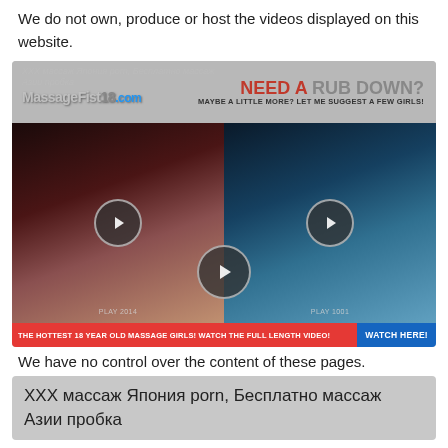We do not own, produce or host the videos displayed on this website.
[Figure (screenshot): Massage website advertisement banner with logo, 'NEED A RUB DOWN? MAYBE A LITTLE MORE? LET ME SUGGEST A FEW GIRLS!' text, two video thumbnails with play buttons, and a red/blue footer bar reading 'THE HOTTEST 18 YEAR OLD MASSAGE GIRLS! WATCH THE FULL LENGTH VIDEO! WATCH HERE!']
We have no control over the content of these pages.
ХХХ массаж Япония porn, Бесплатно массаж Азии пробка